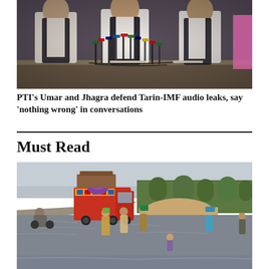[Figure (photo): Press conference photo showing three men in Pakistani attire (shalwar kameez with waistcoats) seated behind a table with multiple microphones]
PTI's Umar and Jhagra defend Tarin-IMF audio leaks, say 'nothing wrong' in conversations
Must Read
[Figure (photo): Flood scene in Pakistan showing people wading through flood water, a colorfully decorated truck, motorcyclist, and people carrying belongings, with green trees and sandy soil in the background]